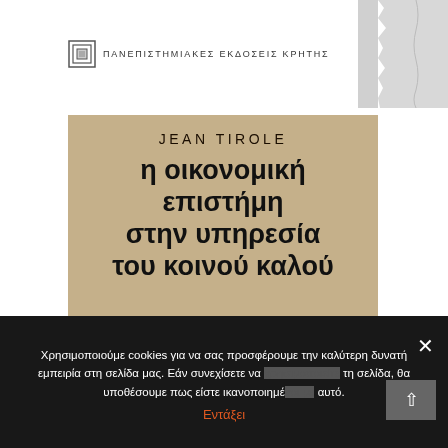[Figure (logo): Publisher logo for ΠΑΝΕΠΙΣΤΗΜΙΑΚΕΣ ΕΚΔΟΣΕΙΣ ΚΡΗΤΗΣ with decorative box icon]
[Figure (illustration): Book cover of Jean Tirole - η οικονομική επιστήμη στην υπηρεσία του κοινού καλού, with beige/tan background and orange decorative floral elements]
JEAN TIROLE
η οικονομική επιστήμη στην υπηρεσία του κοινού καλού
ο ρόλος της οικονομικής επιστήμης και του οικονομολόγου στον 21ο αιώνα
Χρησιμοποιούμε cookies για να σας προσφέρουμε την καλύτερη δυνατή εμπειρία στη σελίδα μας. Εάν συνεχίσετε να χρησιμοποιείτε τη σελίδα, θα υποθέσουμε πως είστε ικανοποιημένοι με αυτό.
Εντάξει